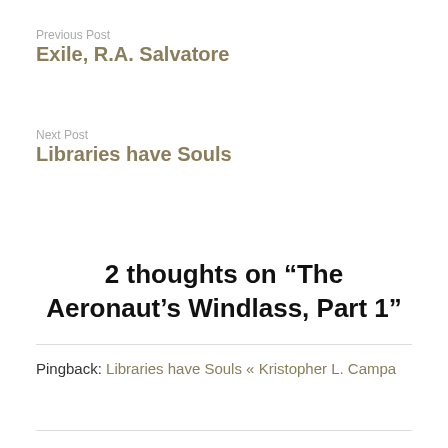Previous Post
Exile, R.A. Salvatore
Next Post
Libraries have Souls
2 thoughts on “The Aeronaut’s Windlass, Part 1”
Pingback: Libraries have Souls « Kristopher L. Campa